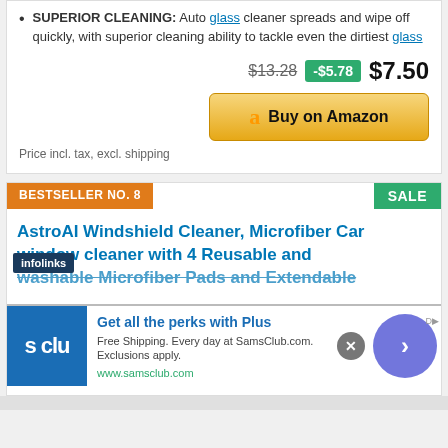SUPERIOR CLEANING: Auto glass cleaner spreads and wipe off quickly, with superior cleaning ability to tackle even the dirtiest glass
$13.28  -$5.78  $7.50
[Figure (screenshot): Buy on Amazon button with Amazon logo]
Price incl. tax, excl. shipping
BESTSELLER NO. 8
SALE
AstroAI Windshield Cleaner, Microfiber Car window cleaner with 4 Reusable and Washable Microfiber Pads and Extendable
[Figure (screenshot): Sam's Club advertisement overlay: Get all the perks with Plus. Free Shipping. Every day at SamsClub.com. Exclusions apply. www.samsclub.com. With infolinks tag, S CLU logo, close button, and next arrow button.]